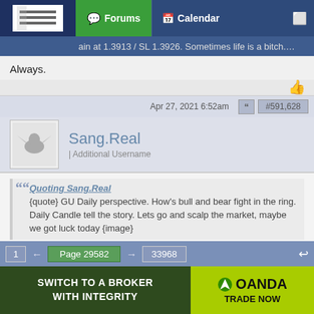Forums | Calendar
ain at 1.3913 / SL 1.3926. Sometimes life is a bitch....
Always.
Apr 27, 2021 6:52am  #591,628
Sang.Real | Additional Username
Quoting Sang.Real
{quote} GU Daily perspective. How's bull and bear fight in the ring. Daily Candle tell the story. Lets go and scalp the market, maybe we got luck today {image}
GU
Closed all scalping position.
1 ← Page 29582 → 33968
[Figure (other): OANDA advertisement banner: SWITCH TO A BROKER WITH INTEGRITY | OANDA TRADE NOW]